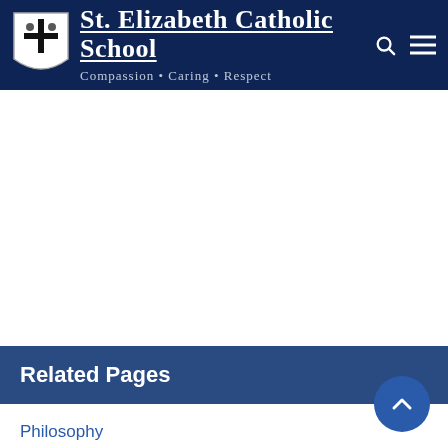St. Elizabeth Catholic School – Compassion · Caring · Respect
Related Pages
Philosophy
Mission Statement
Alma Mater